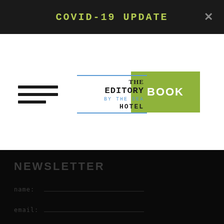COVID-19 UPDATE
[Figure (logo): The Editory By The Sea Hotel logo with blue border lines]
BOOK
NEWSLETTER
name:
email: